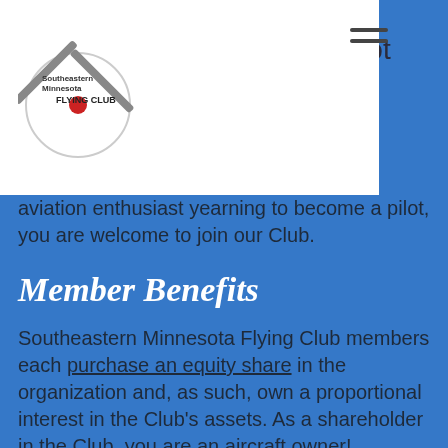[Figure (logo): Southeastern Minnesota Flying Club logo with crossed propellers and red dot]
…a pilot …pilot …r an aviation enthusiast yearning to become a pilot, you are welcome to join our Club.
Member Benefits
Southeastern Minnesota Flying Club members each purchase an equity share in the organization and, as such, own a proportional interest in the Club's assets. As a shareholder in the Club, you are an aircraft owner!
Co-owning aircraft is a very economical way to secure aircraft access. Financially, most pilots come out ahead in a flying club compared to renting,